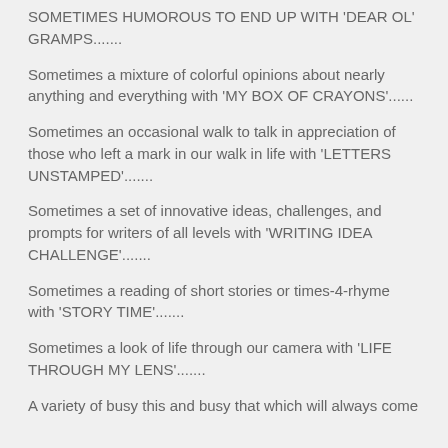SOMETIMES HUMOROUS TO END UP WITH 'DEAR OL' GRAMPS.......
Sometimes a mixture of colorful opinions about nearly anything and everything with ‘MY BOX OF CRAYONS’......
Sometimes an occasional walk to talk in appreciation of those who left a mark in our walk in life with ‘LETTERS UNSTAMPED’.......
Sometimes a set of innovative ideas, challenges, and prompts for writers of all levels with ‘WRITING IDEA CHALLENGE’.......
Sometimes a reading of short stories or times-4-rhyme with ‘STORY TIME’.......
Sometimes a look of life through our camera with ‘LIFE THROUGH MY LENS’.......
A variety of busy this and busy that which will always come from the desk and pen...